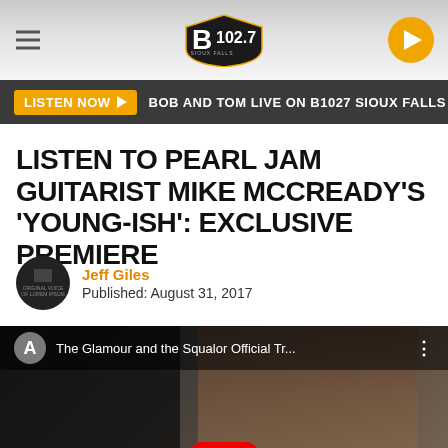B 102.7
LISTEN NOW ▶  BOB AND TOM LIVE ON B1027 SIOUX FALLS
LISTEN TO PEARL JAM GUITARIST MIKE MCCREADY'S 'YOUNG-ISH': EXCLUSIVE PREMIERE
Jeff Giles
Published: August 31, 2017
[Figure (screenshot): YouTube video thumbnail showing 'The Glamour and the Squalor Official Tr...' with a YouTube play button overlay and a person's face in the background]